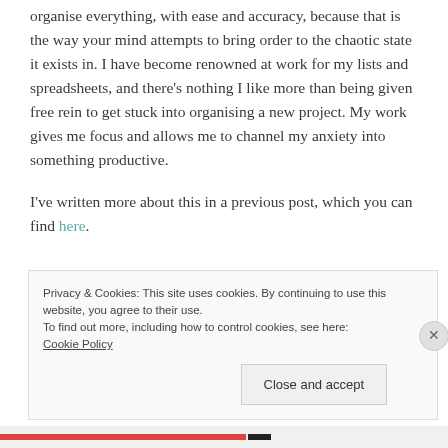organise everything, with ease and accuracy, because that is the way your mind attempts to bring order to the chaotic state it exists in. I have become renowned at work for my lists and spreadsheets, and there's nothing I like more than being given free rein to get stuck into organising a new project. My work gives me focus and allows me to channel my anxiety into something productive.
I've written more about this in a previous post, which you can find here.
Privacy & Cookies: This site uses cookies. By continuing to use this website, you agree to their use.
To find out more, including how to control cookies, see here: Cookie Policy